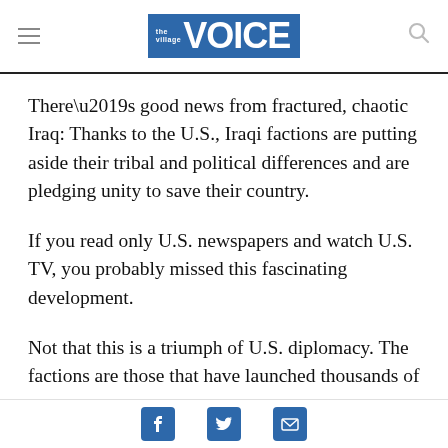the village VOICE
There’s good news from fractured, chaotic Iraq: Thanks to the U.S., Iraqi factions are putting aside their tribal and political differences and are pledging unity to save their country.
If you read only U.S. newspapers and watch U.S. TV, you probably missed this fascinating development.
Not that this is a triumph of U.S. diplomacy. The factions are those that have launched thousands of
Social share icons: Facebook, Twitter, Email